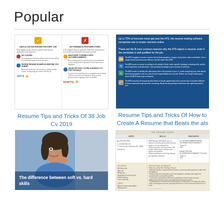Popular
[Figure (infographic): Resume Tips and Tricks infographic with DO's and DON'Ts columns]
Resume Tips and Tricks Of 38 Job Cv 2019
[Figure (infographic): Blue infographic about ATS resume screening tips - Resume Tips and Tricks Of How to Create A Resume that Beats the ats]
Resume Tips and Tricks Of How to Create A Resume that Beats the ats
[Figure (photo): Photo of a young woman smiling with text overlay: The difference between soft vs. hard skills]
[Figure (screenshot): Resume template preview with columns for Info, Skills, and Education]